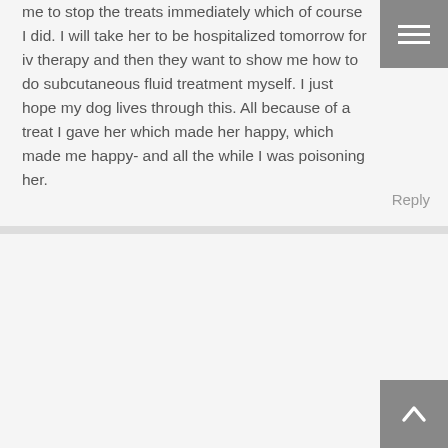me to stop the treats immediately which of course I did. I will take her to be hospitalized tomorrow for iv therapy and then they want to show me how to do subcutaneous fluid treatment myself. I just hope my dog lives through this. All because of a treat I gave her which made her happy, which made me happy- and all the while I was poisoning her.
Reply
Johanna Ohlsson
May 3, 2008 at 8:35 pm
My six-year-old Cavalier King Charles Spaniel was sickened by Smokehouse treats made in China. Emma's initial symptoms were vomiting and diarrhea, followed by anorexia. Her